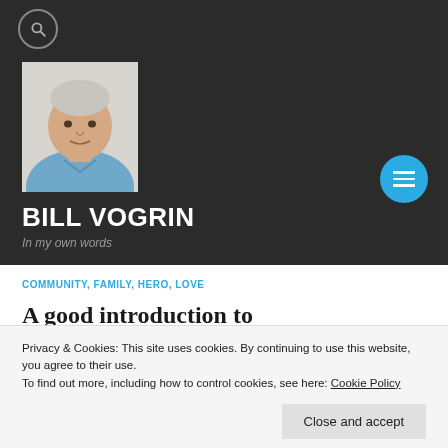[Figure (screenshot): Website screenshot of Bill Vogrin personal blog. Dark header with search icon, profile photo of a middle-aged man in blue shirt, site title BILL VOGRIN, tagline In my own words, teal hamburger menu button, category tags COMMUNITY, FAMILY, HERO, LOVE, partially visible article title, and a cookie consent banner overlay.]
BILL VOGRIN — In my own words
COMMUNITY, FAMILY, HERO, LOVE
Privacy & Cookies: This site uses cookies. By continuing to use this website, you agree to their use. To find out more, including how to control cookies, see here: Cookie Policy
Close and accept